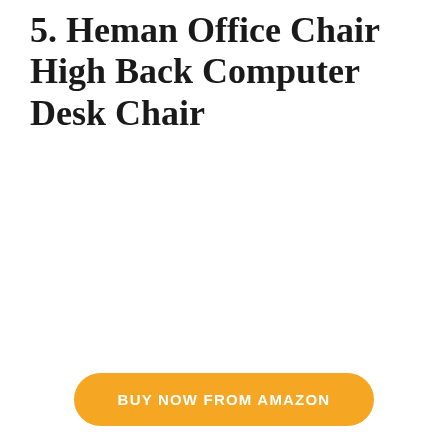5. Heman Office Chair High Back Computer Desk Chair
BUY NOW FROM AMAZON